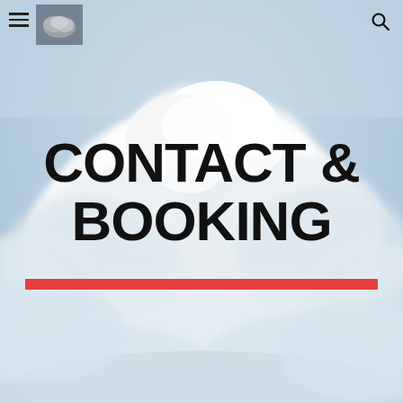[Figure (photo): Full-page background photo of white cumulus clouds against a light blue sky]
≡ [logo] 🔍
CONTACT & BOOKING